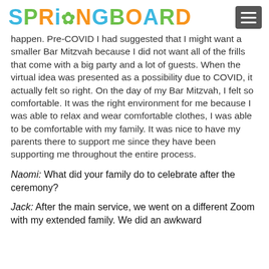SPRINGBOARD
happen. Pre-COVID I had suggested that I might want a smaller Bar Mitzvah because I did not want all of the frills that come with a big party and a lot of guests. When the virtual idea was presented as a possibility due to COVID, it actually felt so right. On the day of my Bar Mitzvah, I felt so comfortable. It was the right environment for me because I was able to relax and wear comfortable clothes, I was able to be comfortable with my family. It was nice to have my parents there to support me since they have been supporting me throughout the entire process.
Naomi: What did your family do to celebrate after the ceremony?
Jack: After the main service, we went on a different Zoom with my extended family. We did an awkward